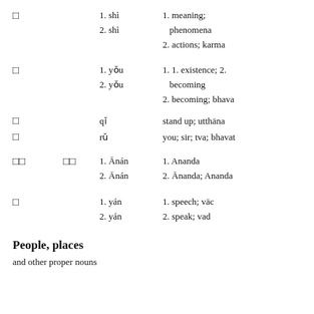□  1. shì  2. shì  1. meaning; phenomena  2. actions; karma
□  1. yǒu  2. yǒu  1. 1. existence; 2. becoming  2. becoming; bhava
□  qǐ  stand up; utthāna
□  rǔ  you; sir; tva; bhavat
□□  □□  1. Ānán  2. Ānán  1. Ananda  2. Ānanda; Ananda
□  1. yán  2. yán  1. speech; vāc  2. speak; vad
People, places
and other proper nouns